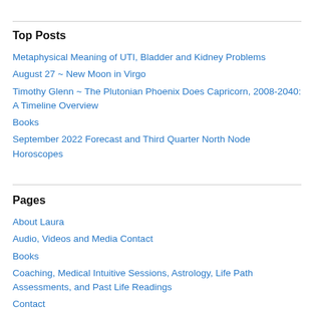Top Posts
Metaphysical Meaning of UTI, Bladder and Kidney Problems
August 27 ~ New Moon in Virgo
Timothy Glenn ~ The Plutonian Phoenix Does Capricorn, 2008-2040: A Timeline Overview
Books
September 2022 Forecast and Third Quarter North Node Horoscopes
Pages
About Laura
Audio, Videos and Media Contact
Books
Coaching, Medical Intuitive Sessions, Astrology, Life Path Assessments, and Past Life Readings
Contact